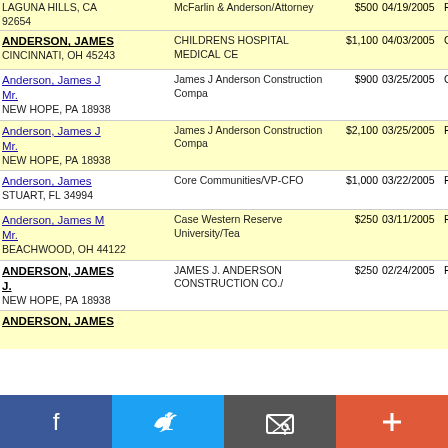| Name/Address | Employer | Amount | Date | Type | Link |
| --- | --- | --- | --- | --- | --- |
| LAGUNA HILLS, CA
92654 | McFarlin & Anderson/Attorney | $500 | 04/19/2005 | P | ALAS |
| ANDERSON, JAMES
CINCINNATI, OH
45243 | CHILDRENS HOSPITAL MEDICAL CE | $1,100 | 04/03/2005 | G | MIKE |
| Anderson, James J Mr.
NEW HOPE, PA
18938 | James J Anderson Construction Compa | $900 | 03/25/2005 | G | FITZF |
| Anderson, James J Mr.
NEW HOPE, PA
18938 | James J Anderson Construction Compa | $2,100 | 03/25/2005 | P | FITZF |
| Anderson, James
STUART, FL
34994 | Core Communities/VP-CFO | $1,000 | 03/22/2005 | P | FRIEN |
| Anderson, James M Mr.
BEACHWOOD, OH
44122 | Case Western Reserve University/Tea | $250 | 03/11/2005 | P | REPL |
| ANDERSON, JAMES J.
NEW HOPE, PA
18938 | JAMES J. ANDERSON CONSTRUCTION CO./ | $250 | 02/24/2005 | P | NATIO COMM |
| ANDERSON, JAMES |  |  |  |  |  |
[Figure (infographic): Social media sharing bar with Facebook, Twitter, email, and plus (+) buttons]